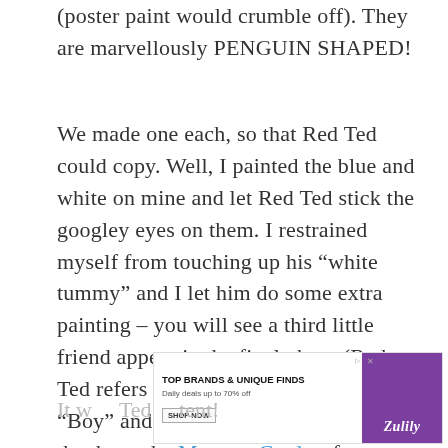(poster paint would crumble off). They are marvellously PENGUIN SHAPED!
We made one each, so that Red Ted could copy. Well, I painted the blue and white on mine and let Red Ted stick the googley eyes on them. I restrained myself from touching up his “white tummy” and I let him do some extra painting – you will see a third little friend appear in the final photo (Red Ted refers to him alternatingly as “Boy” and “Monster” – probably thanks to the Monster Cards a few weeks ago).
[Figure (screenshot): Advertisement banner: TOP BRANDS & UNIQUE FINDS, Daily deals up to 70% off, with shoe and bag imagery, SHOP NOW button, purple right panel with Zulily logo]
It w... Ted ... tent!